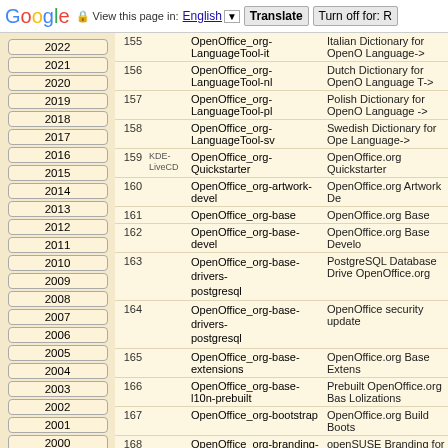Google — View this page in: English | Translate | Turn off for: R
| # | Tag | Package | Description |
| --- | --- | --- | --- |
| 155 |  | OpenOffice_org-LanguageTool-it | Italian Dictionary for OpenOffice Language-> |
| 156 |  | OpenOffice_org-LanguageTool-nl | Dutch Dictionary for OpenOffice Language T-> |
| 157 |  | OpenOffice_org-LanguageTool-pl | Polish Dictionary for OpenOffice Language -> |
| 158 |  | OpenOffice_org-LanguageTool-sv | Swedish Dictionary for OpenOffice Language-> |
| 159 | KDE-LiveCD | OpenOffice_org-Quickstarter | OpenOffice.org Quickstarter |
| 160 |  | OpenOffice_org-artwork-devel | OpenOffice.org Artwork De |
| 161 |  | OpenOffice_org-base | OpenOffice.org Base |
| 162 |  | OpenOffice_org-base-devel | OpenOffice.org Base Develo |
| 163 |  | OpenOffice_org-base-drivers-postgresql | PostgreSQL Database Drive OpenOffice.org |
| 164 |  | OpenOffice_org-base-drivers-postgresql | OpenOffice security update |
| 165 |  | OpenOffice_org-base-extensions | OpenOffice.org Base Extens |
| 166 |  | OpenOffice_org-base-l10n-prebuilt | Prebuilt OpenOffice.org Bas Lolizations |
| 167 |  | OpenOffice_org-bootstrap | OpenOffice.org Build Boots |
| 168 |  | OpenOffice_org-branding-openSUSE | openSUSE Branding for Op |
| 169 | KDE-LiveCD | OpenOffice_org-branding-upstream | Original Branding for OpenO |
| 170 | KDE-LiveCD | OpenOffice_org-calc | OpenOffice.org Calc |
| 171 |  | OpenOffice_org-calc-devel | OpenOffice.org Calc Develo |
| 172 |  | OpenOffice_org-calc-extensions | OpenOffice.org Calc Extens |
| 173 |  | OpenOffice_org-calc-l10n-prebuilt | Prebuilt OpenOffice.org Cal Localizations |